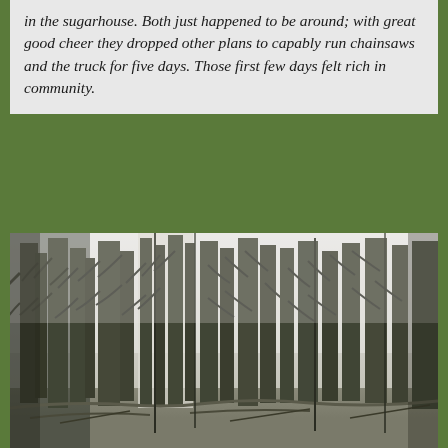in the sugarhouse. Both just happened to be around; with great good cheer they dropped other plans to capably run chainsaws and the truck for five days. Those first few days felt rich in community.
[Figure (photo): An outdoor forest scene showing tall conifer trees (pines/spruces) in a misty, overcast setting. The forest floor has fallen branches and brush. The scene is grey and wintry-looking.]